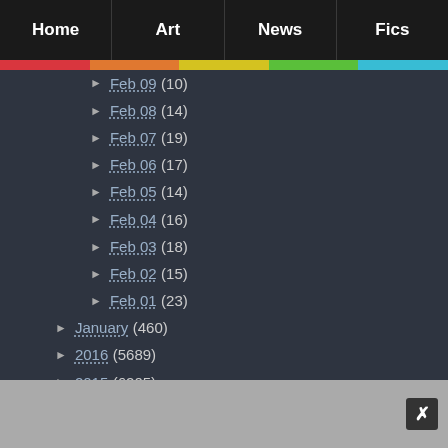Home | Art | News | Fics
Feb 09 (10)
Feb 08 (14)
Feb 07 (19)
Feb 06 (17)
Feb 05 (14)
Feb 04 (16)
Feb 03 (18)
Feb 02 (15)
Feb 01 (23)
January (460)
2016 (5689)
2015 (6205)
2014 (6304)
2013 (5788)
2012 (6883)
2011 (6168)